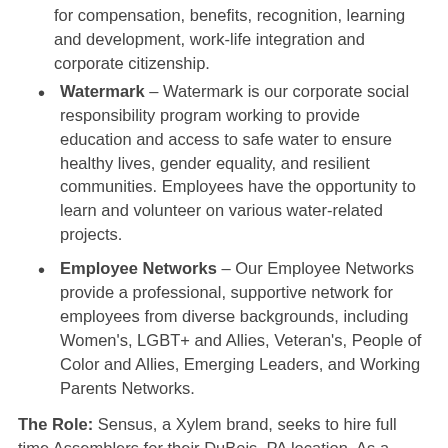for compensation, benefits, recognition, learning and development, work-life integration and corporate citizenship.
Watermark – Watermark is our corporate social responsibility program working to provide education and access to safe water to ensure healthy lives, gender equality, and resilient communities. Employees have the opportunity to learn and volunteer on various water-related projects.
Employee Networks – Our Employee Networks provide a professional, supportive network for employees from diverse backgrounds, including Women's, LGBT+ and Allies, Veteran's, People of Color and Allies, Emerging Leaders, and Working Parents Networks.
The Role: Sensus, a Xylem brand, seeks to hire full time Assemblers for their DuBois, PA location. As a member of the Manufacturing team, successful candidates will have demonstrated the ability to succeed in a fast paced, fluid environment, while ensuring that operational initiatives are